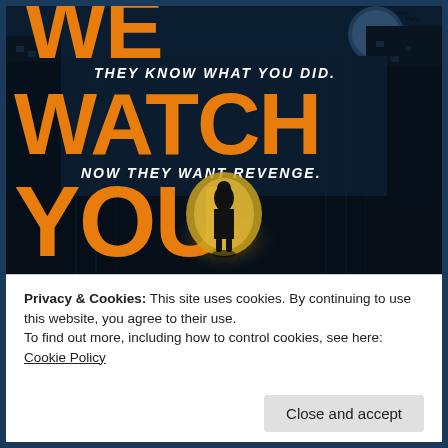[Figure (illustration): Book cover image for a thriller. Dark city street scene at night with blue tones. Large orange text reads 'WE WATCH YOU'. White italic text reads 'THEY KNOW WHAT YOU DID.' and 'NOW THEY WANT REVENGE.' A silhouetted female figure stands in a glowing circle of golden light in the center of the image.]
Privacy & Cookies: This site uses cookies. By continuing to use this website, you agree to their use.
To find out more, including how to control cookies, see here: Cookie Policy